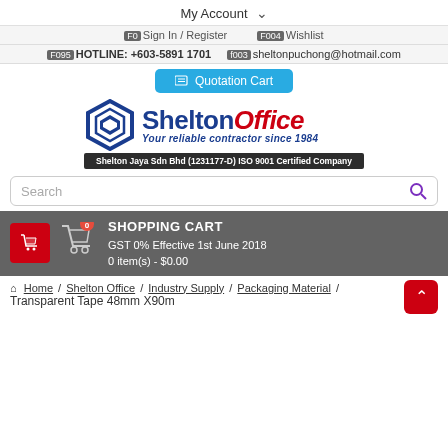My Account
F0 Sign In / Register   F004 Wishlist
F095 HOTLINE: +603-5891 1701   f003 sheltonpuchong@hotmail.com
Quotation Cart
[Figure (logo): Shelton Office logo with hexagon icon. Text: SheltonOffice Your reliable contractor since 1984. Shelton Jaya Sdn Bhd (1231177-D) ISO 9001 Certified Company]
Search
SHOPPING CART GST 0% Effective 1st June 2018 0 item(s) - $0.00
Home / Shelton Office / Industry Supply / Packaging Material / Transparent Tape 48mm X90m